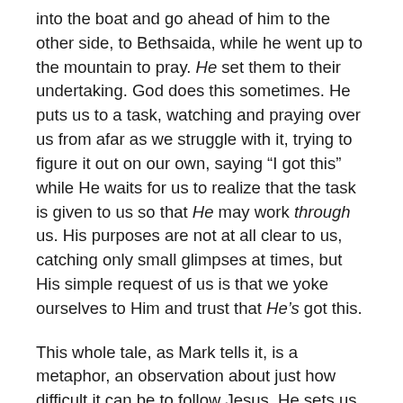into the boat and go ahead of him to the other side, to Bethsaida, while he went up to the mountain to pray. He set them to their undertaking. God does this sometimes. He puts us to a task, watching and praying over us from afar as we struggle with it, trying to figure it out on our own, saying “I got this” while He waits for us to realize that the task is given to us so that He may work through us. His purposes are not at all clear to us, catching only small glimpses at times, but His simple request of us is that we yoke ourselves to Him and trust that He’s got this.
This whole tale, as Mark tells it, is a metaphor, an observation about just how difficult it can be to follow Jesus. He sets us in our boat (life) and sends us out into the deep (the world) to accomplish his will. It’s not easy. We push against the oars, struggling with the prevailing winds of popular opinion and “consensus” that surround us